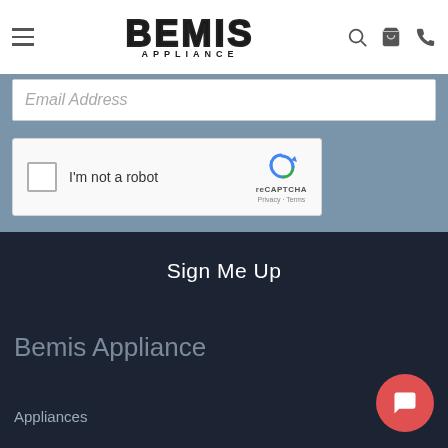[Figure (logo): Bemis Appliance logo with hamburger menu icon and header icons for search, cart, and phone]
Email Address
[Figure (screenshot): reCAPTCHA widget with checkbox and 'I'm not a robot' text, reCAPTCHA logo, Privacy and Terms links]
Sign Me Up
Bemis Appliance
Appliances